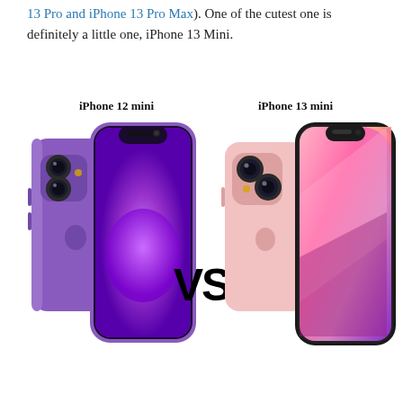13 Pro and iPhone 13 Pro Max). One of the cutest one is definitely a little one, iPhone 13 Mini.
[Figure (photo): Side-by-side comparison of iPhone 12 mini (purple) and iPhone 13 mini (pink), showing back and front views of each phone, with 'VS' text in the center.]